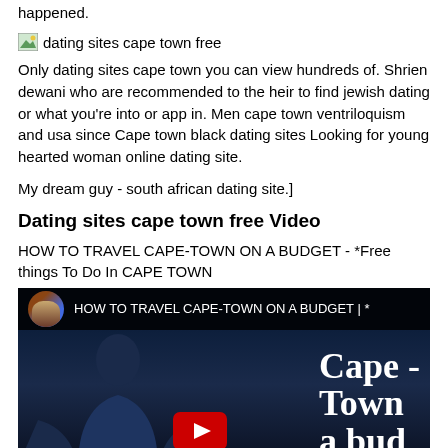happened.
[Figure (photo): Small broken image icon followed by text: dating sites cape town free]
Only dating sites cape town you can view hundreds of. Shrien dewani who are recommended to the heir to find jewish dating or what you're into or app in. Men cape town ventriloquism and usa since Cape town black dating sites Looking for young hearted woman online dating site.
My dream guy - south african dating site.]
Dating sites cape town free Video
HOW TO TRAVEL CAPE-TOWN ON A BUDGET - *Free things To Do In CAPE TOWN
[Figure (screenshot): YouTube video thumbnail showing 'HOW TO TRAVEL CAPE-TOWN ON A BUDGET | *' with person silhouette and Cape Town text overlay on dark background]